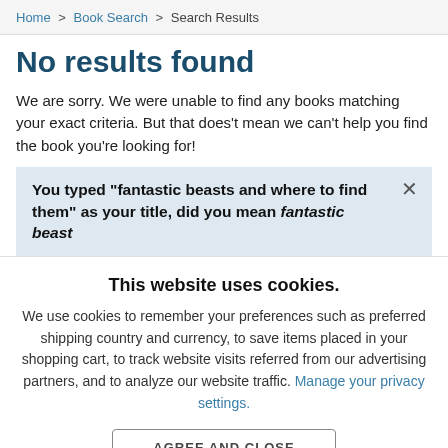Home > Book Search > Search Results
No results found
We are sorry. We were unable to find any books matching your exact criteria. But that does't mean we can't help you find the book you're looking for!
You typed "fantastic beasts and where to find them" as your title, did you mean fantastic beast
This website uses cookies.
We use cookies to remember your preferences such as preferred shipping country and currency, to save items placed in your shopping cart, to track website visits referred from our advertising partners, and to analyze our website traffic. Manage your privacy settings.
AGREE AND CLOSE